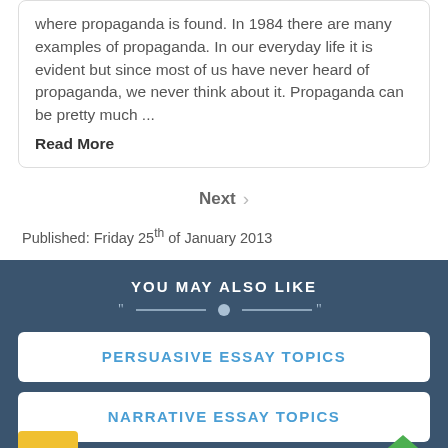where propaganda is found. In 1984 there are many examples of propaganda. In our everyday life it is evident but since most of us have never heard of propaganda, we never think about it. Propaganda can be pretty much ... Read More
Next
Published: Friday 25th of January 2013
YOU MAY ALSO LIKE
PERSUASIVE ESSAY TOPICS
NARRATIVE ESSAY TOPICS
DESCRIPTIVE ESSAY TOPICS